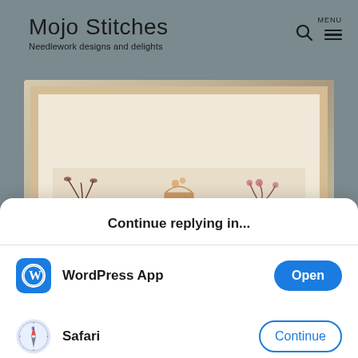Mojo Stitches
Needlework designs and delights
[Figure (photo): A framed cross-stitch needlework piece showing floral/plant designs in muted colors on a light background, displayed on a white marble surface.]
Continue replying in...
WordPress App — Open
Safari — Continue